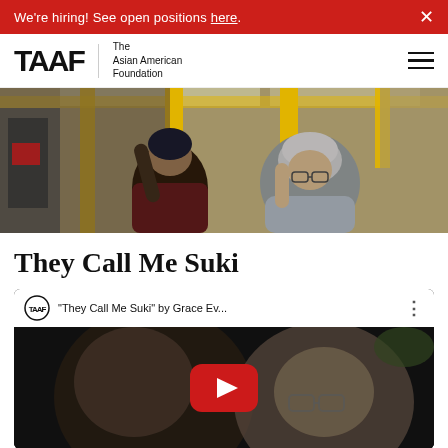We're hiring! See open positions here.
[Figure (logo): TAAF - The Asian American Foundation logo with hamburger menu]
[Figure (photo): Two people on a bus holding yellow handles — a young man in a dark beanie and a jacket, and an older woman with grey hair and glasses wearing a quilted jacket]
They Call Me Suki
[Figure (screenshot): YouTube video embed: 'They Call Me Suki' by Grace Ev... with TAAF logo and YouTube play button]